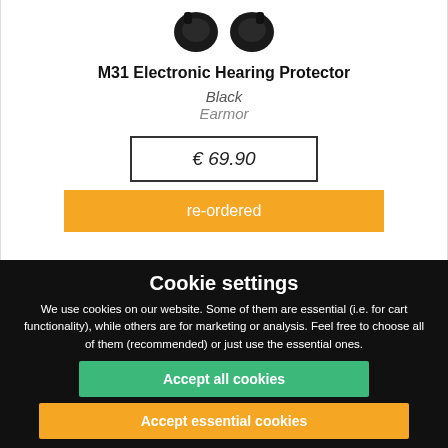[Figure (photo): Two black electronic ear muffs/hearing protectors shown from above]
M31 Electronic Hearing Protector
Black
Earmor
€ 69.90
re-ordered
Cookie settings
We use cookies on our website. Some of them are essential (i.e. for cart functionality), while others are for marketing or analysis. Feel free to choose all of them (recommended) or just use the essential ones.
Accept all cookies
Accept essential cookies
Refuse cookies